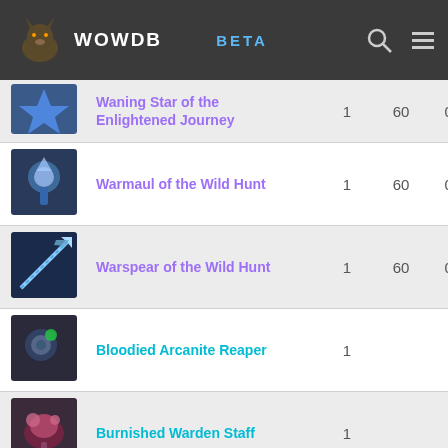[Figure (screenshot): WOWDB website navigation bar with logo, BETA label, search icon, and menu icon]
| Icon | Name | Count | Level | Value |
| --- | --- | --- | --- | --- |
| [icon] | Waning Star of the Enlightened Journey | 1 | 60 | 0.5 |
| [icon] | Warmaul of the Wild Hunt | 1 | 60 | 0.5 |
| [icon] | Warspear of the Wild Hunt | 1 | 60 | 0.5 |
| [icon] | Bloodied Arcanite Reaper | 1 |  |  |
| [icon] | Burnished Warden Staff | 1 |  |  |
| [icon] | Dignified Headmaster's Charge | 1 |  |  |
| [icon] | Eagletalon Spear | 1 |  |  |
| [icon] | Grand Staff of Jordan | 1 |  |  |